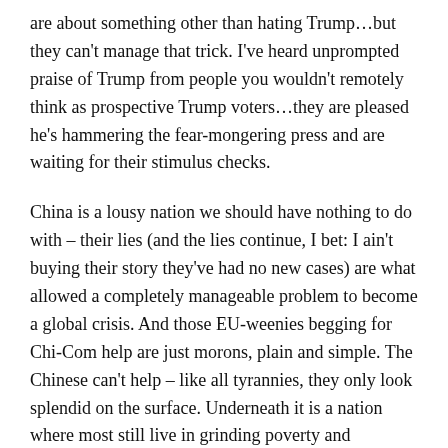are about something other than hating Trump…but they can't manage that trick. I've heard unprompted praise of Trump from people you wouldn't remotely think as prospective Trump voters…they are pleased he's hammering the fear-mongering press and are waiting for their stimulus checks.
China is a lousy nation we should have nothing to do with – their lies (and the lies continue, I bet: I ain't buying their story they've had no new cases) are what allowed a completely manageable problem to become a global crisis. And those EU-weenies begging for Chi-Com help are just morons, plain and simple. The Chinese can't help – like all tyrannies, they only look splendid on the surface. Underneath it is a nation where most still live in grinding poverty and prisoners fill the camps. They've got a couple showplace cities to wow the rubes of the West while the